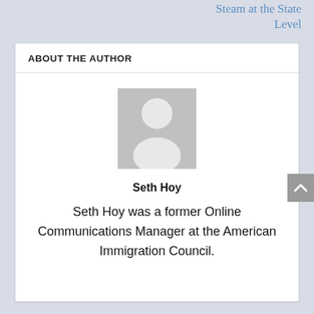Steam at the State Level
ABOUT THE AUTHOR
[Figure (photo): Generic user avatar placeholder image — grey silhouette of a person on a grey background]
Seth Hoy
Seth Hoy was a former Online Communications Manager at the American Immigration Council.